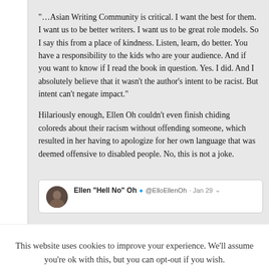the best for them. I want us to be better writers. I want us to be great role models. So I say this from a place of kindness. Listen, learn, do better. You have a responsibility to the kids who are your audience. And if you want to know if I read the book in question. Yes. I did. And I absolutely believe that it wasn't the author's intent to be racist. But intent can't negate impact."
Hilariously enough, Ellen Oh couldn't even finish chiding coloreds about their racism without offending someone, which resulted in her having to apologize for her own language that was deemed offensive to disabled people. No, this is not a joke.
[Figure (screenshot): Tweet preview from Ellen "Hell No" Oh @ElloEllenOh Jan 29 with a chevron dropdown]
This website uses cookies to improve your experience. We'll assume you're ok with this, but you can opt-out if you wish.
Accept   Read More